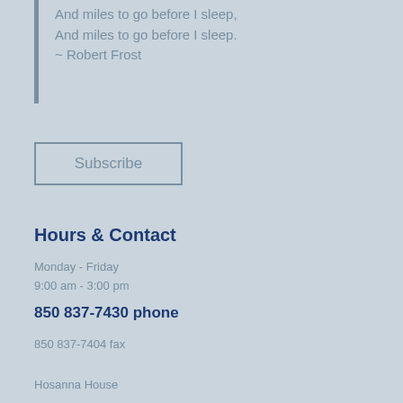And miles to go before I sleep,
And miles to go before I sleep.
~ Robert Frost
Subscribe
Hours & Contact
Monday - Friday
9:00 am - 3:00 pm
850 837-7430 phone
850 837-7404 fax
Hosanna House